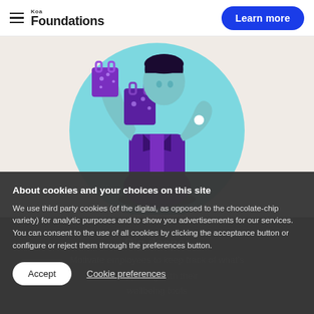Koa Foundations — Learn more
[Figure (illustration): Illustration of a person carrying shopping bags, shown from waist up with purple clothing, on a light teal circular background, against a beige/cream background.]
Dig deeper
Motivate employees to keep track of what's happening with their wellbeing tools
About cookies and your choices on this site
We use third party cookies (of the digital, as opposed to the chocolate-chip variety) for analytic purposes and to show you advertisements for our services. You can consent to the use of all cookies by clicking the acceptance button or configure or reject them through the preferences button.
Accept
Cookie preferences